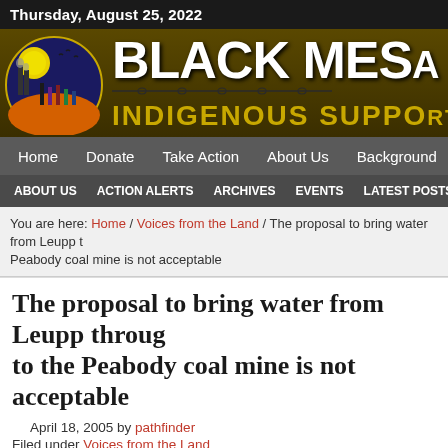Thursday, August 25, 2022
[Figure (logo): Black Mesa Indigenous Support website banner with circular logo showing indigenous figures and industrial silhouettes on left, large bold text BLACK MESA on right with barbed wire graphic, and subtitle INDIGENOUS SUPPORT below]
Home  Donate  Take Action  About Us  Background
ABOUT US  ACTION ALERTS  ARCHIVES  EVENTS  LATEST POSTS
You are here: Home / Voices from the Land / The proposal to bring water from Leupp to the Peabody coal mine is not acceptable
The proposal to bring water from Leupp through to the Peabody coal mine is not acceptable
April 18, 2005 by pathfinder
Filed under Voices from the Land
A jointly issued statement by the residents and the their supporters of kin Nteel mountain) during a meeting on April 17 th 2005